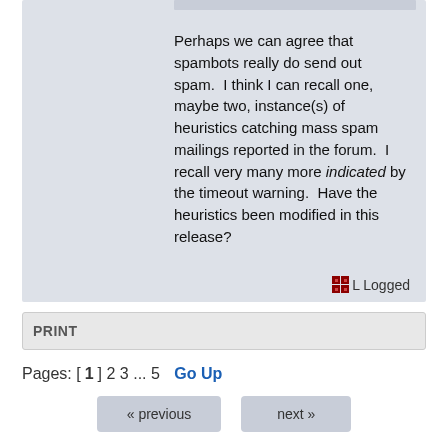Perhaps we can agree that spambots really do send out spam.  I think I can recall one, maybe two, instance(s) of heuristics catching mass spam mailings reported in the forum.  I recall very many more indicated by the timeout warning.  Have the heuristics been modified in this release?
Logged
PRINT
Pages: [1] 2 3 ... 5   Go Up